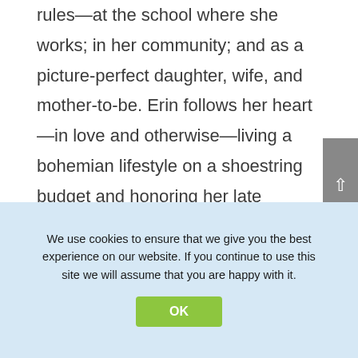rules—at the school where she works; in her community; and as a picture-perfect daughter, wife, and mother-to-be. Erin follows her heart—in love and otherwise—living a bohemian lifestyle on a shoestring budget and honoring her late father's memory with a passion for music and her fledgling bath-products business.

The sisters are content leading separate but happy lives in their hometown of Potomac Point until everything is upended by lies that
We use cookies to ensure that we give you the best experience on our website. If you continue to use this site we will assume that you are happy with it.